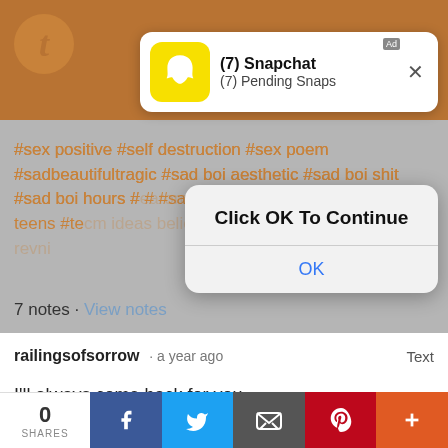[Figure (screenshot): Screenshot of a mobile browser showing a Tumblr post page with brown/orange header, hashtag list in orange links, notes count, post by 'railingsofsorrow', and social share bar at bottom. Overlaid with a Snapchat push notification popup and an iOS-style 'Click OK To Continue' dialog box.]
#sex positive #self destruction #sex poem #sadbeautifultragic #sad boi aesthetic #sad boi shit #sad boi hours #... #... #sad teens #te... #... #sad poem #dead...
7 notes · View notes
railingsofsorrow · a year ago   Text
I'll always come back for you
0 SHARES